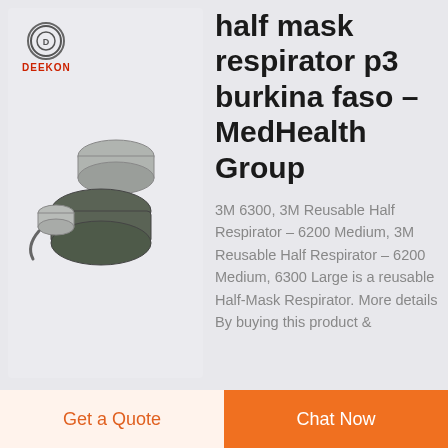[Figure (photo): Deekon logo with circular emblem and red DEEKON text, above product photo of dark olive/grey metallic half-mask respirator components on white background]
half mask respirator p3 burkina faso – MedHealth Group
3M 6300, 3M Reusable Half Respirator – 6200 Medium, 3M Reusable Half Respirator – 6200 Medium, 6300 Large is a reusable Half-Mask Respirator. More details By buying this product &